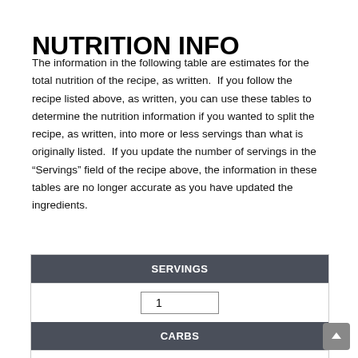NUTRITION INFO
The information in the following table are estimates for the total nutrition of the recipe, as written. If you follow the recipe listed above, as written, you can use these tables to determine the nutrition information if you wanted to split the recipe, as written, into more or less servings than what is originally listed. If you update the number of servings in the "Servings" field of the recipe above, the information in these tables are no longer accurate as you have updated the ingredients.
| SERVINGS |
| --- |
| 1 |
| CARBS |
| 262.9g |